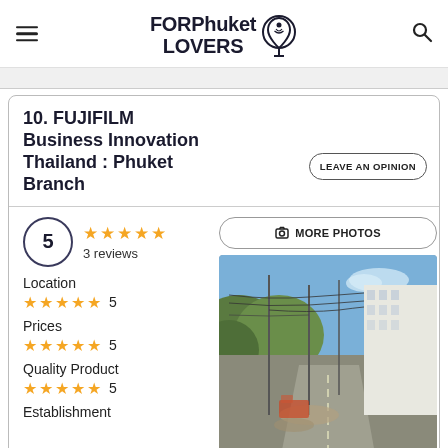FORPhuket LOVERS
10. FUJIFILM Business Innovation Thailand : Phuket Branch
LEAVE AN OPINION
5 ★★★★★ 3 reviews
MORE PHOTOS
Location ★★★★★ 5
Prices ★★★★★ 5
Quality Product ★★★★★ 5
Establishment
[Figure (photo): Street view photo showing a road, utility poles with wires, blue sky, hillside with trees, and a white building.]